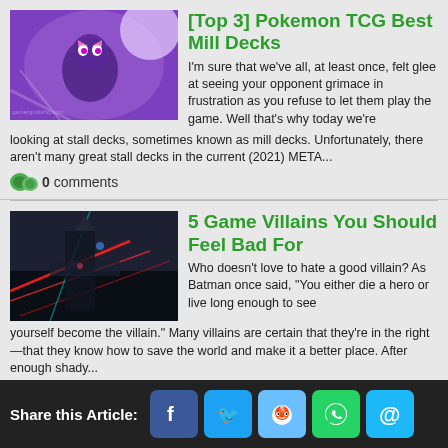[Top 3] Pokemon TCG Best Mill Decks
I'm sure that we've all, at least once, felt glee at seeing your opponent grimace in frustration as you refuse to let them play the game. Well that's why today we're looking at stall decks, sometimes known as mill decks. Unfortunately, there aren't many great stall decks in the current (2021) META...
0 comments
5 Game Villains You Should Feel Bad For
Who doesn't love to hate a good villain? As Batman once said, "You either die a hero or live long enough to see yourself become the villain." Many villains are certain that they're in the right—that they know how to save the world and make it a better place. After enough shady...
0 comments
Share this Article: